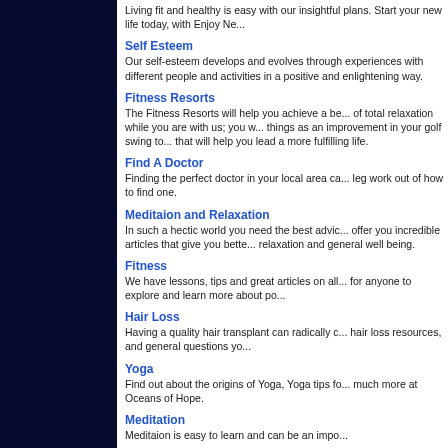Living fit and healthy is easy with our insightful plans. Start your new life today, with Enjoy Ne...
Self Esteem
Our self-esteem develops and evolves through experiences with different people and activities in a positive and enlightening way.
Fitness Resorts
The Fitness Resorts will help you achieve a be... of total relaxation while you are with us; you w... things as an improvement in your golf swing to... that will help you lead a more fulfilling life.
Find A Doctor
Finding the perfect doctor in your local area ca... leg work out of how to find one.
Meditaion and Relaxation
In such a hectic world you need the best advic... offer you incredible articles that give you bette... relaxation and general well being.
Fitness
We have lessons, tips and great articles on all... for anyone to explore and learn more about po...
Hair Loss
Having a quality hair transplant can radically c... hair loss resources, and general questions yo...
Yoga
Find out about the origins of Yoga, Yoga tips fo... much more at Oceans of Hope.
Meditation
Meditaion is easy to learn and can be an impo...